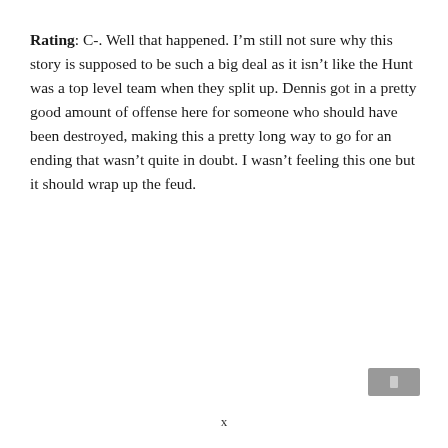Rating: C-. Well that happened. I'm still not sure why this story is supposed to be such a big deal as it isn't like the Hunt was a top level team when they split up. Dennis got in a pretty good amount of offense here for someone who should have been destroyed, making this a pretty long way to go for an ending that wasn't quite in doubt. I wasn't feeling this one but it should wrap up the feud.
[Figure (other): A small gray rectangular navigation/UI icon in the bottom right corner of the page.]
x